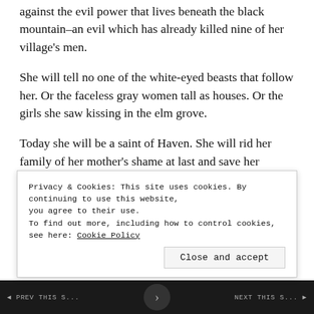against the evil power that lives beneath the black mountain–an evil which has already killed nine of her village's men.
She will tell no one of the white-eyed beasts that follow her. Or the faceless gray women tall as houses. Or the girls she saw kissing in the elm grove.
Today she will be a saint of Haven. She will rid her family of her mother's shame at last and save her people from destruction. She is not afraid. Are you?
This searing and lyrically written novel by the critically acclaimed author of Sawhill Girls beckons readers to follow
Privacy & Cookies: This site uses cookies. By continuing to use this website, you agree to their use.
To find out more, including how to control cookies, see here: Cookie Policy
Close and accept